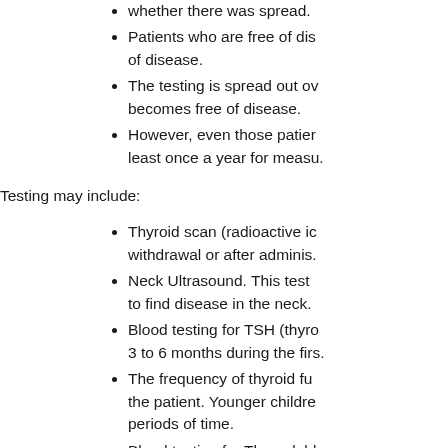whether there was spread.
Patients who are free of dis... of disease.
The testing is spread out ov... becomes free of disease.
However, even those patier... least once a year for measu.
Testing may include:
Thyroid scan (radioactive ic... withdrawal or after adminis.
Neck Ultrasound. This test ... to find disease in the neck.
Blood testing for TSH (thyro... 3 to 6 months during the firs.
The frequency of thyroid fu... the patient. Younger childre... periods of time.
Blood testing for Thyroglobl
This is another impo... cells, normal and ca.
Often, Tg measurem... with more time from ... frequency of Tg may.